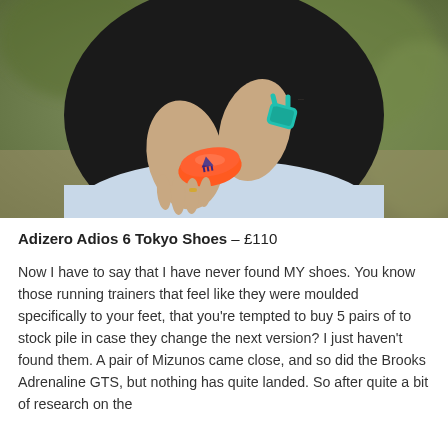[Figure (photo): Close-up photo of a runner wearing a black t-shirt and light blue shorts, adjusting an orange Adidas wristband on their wrist. They are also wearing a teal/turquoise smartwatch or fitness tracker. The background is blurred outdoor greenery.]
Adizero Adios 6 Tokyo Shoes – £110
Now I have to say that I have never found MY shoes. You know those running trainers that feel like they were moulded specifically to your feet, that you're tempted to buy 5 pairs of to stock pile in case they change the next version? I just haven't found them. A pair of Mizunos came close, and so did the Brooks Adrenaline GTS, but nothing has quite landed. So after quite a bit of research on the